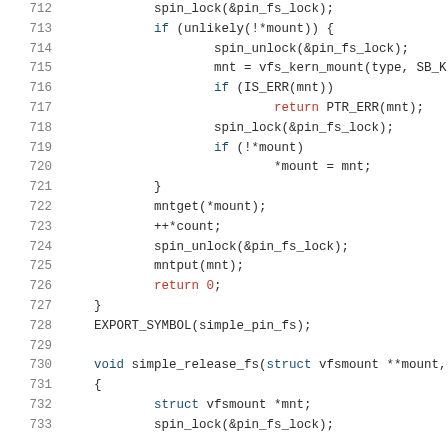[Figure (screenshot): Source code listing showing C kernel code lines 712-733, with syntax highlighting. Line numbers in gray, keywords in dark blue, return statements in red, regular code in dark text.]